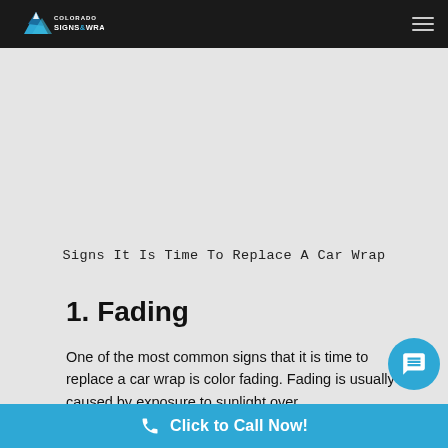Colorado Signs & Wraps — navigation bar with logo and hamburger menu
Signs It Is Time To Replace A Car Wrap
1. Fading
One of the most common signs that it is time to replace a car wrap is color fading. Fading is usually caused by exposure to sunlight over...
Click to Call Now!